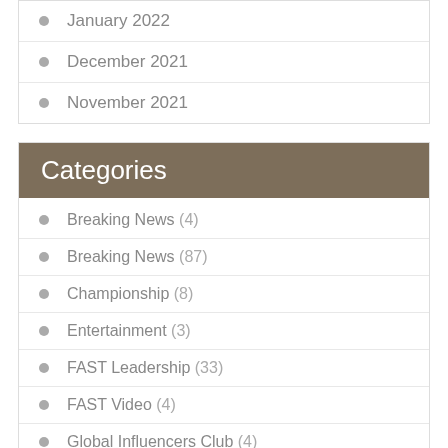January 2022
December 2021
November 2021
Categories
Breaking News (4)
Breaking News (87)
Championship (8)
Entertainment (3)
FAST Leadership (33)
FAST Video (4)
Global Influencers Club (4)